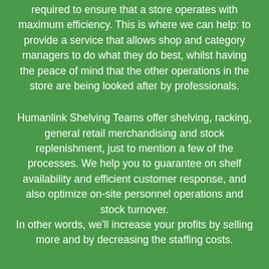required to ensure that a store operates with maximum efficiency. This is where we can help: to provide a service that allows shop and category managers to do what they do best, whilst having the peace of mind that the other operations in the store are being looked after by professionals.
Humanlink Shelving Teams offer shelving, racking, general retail merchandising and stock replenishment, just to mention a few of the processes. We help you to guarantee on shelf availability and efficient customer response, and also optimize on-site personnel operations and stock turnover.
In other words, we'll increase your profits by selling more and by decreasing the staffing costs.